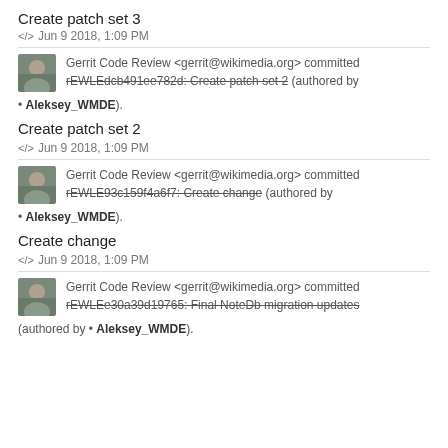Create patch set 3
<> Jun 9 2018, 1:09 PM
Gerrit Code Review <gerrit@wikimedia.org> committed rEWLEdcb491ee782d: Create patch set 2 (authored by • Aleksey_WMDE).
Create patch set 2
<> Jun 9 2018, 1:09 PM
Gerrit Code Review <gerrit@wikimedia.org> committed rEWLE93c159f4a6f7: Create change (authored by • Aleksey_WMDE).
Create change
<> Jun 9 2018, 1:09 PM
Gerrit Code Review <gerrit@wikimedia.org> committed rEWLEe30a39d19765: Final NoteDb migration updates (authored by • Aleksey_WMDE).